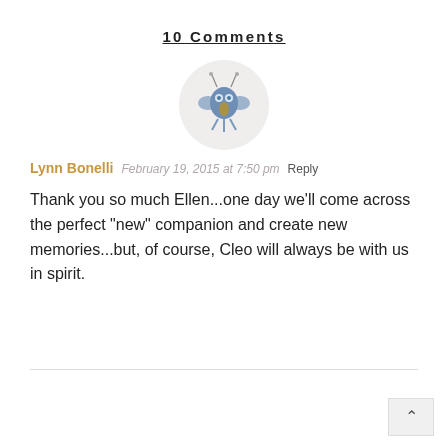10 Comments
[Figure (illustration): Circular avatar with a light pinkish-grey background showing a stylized blue monster/creature character with antennae and wings]
Lynn Bonelli February 19, 2015 at 7:50 pm Reply
Thank you so much Ellen...one day we'll come across the perfect "new" companion and create new memories...but, of course, Cleo will always be with us in spirit.